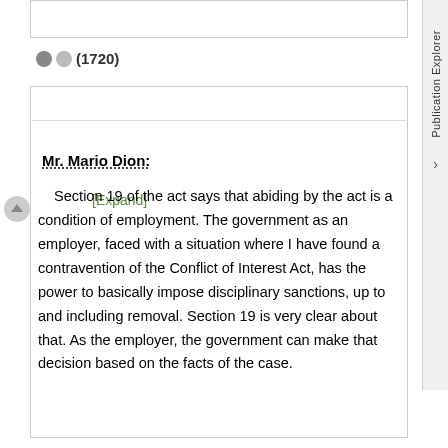[Expand]
Mr. Mario Dion:
Section 19 of the act says that abiding by the act is a condition of employment. The government as an employer, faced with a situation where I have found a contravention of the Conflict of Interest Act, has the power to basically impose disciplinary sanctions, up to and including removal. Section 19 is very clear about that. As the employer, the government can make that decision based on the facts of the case.